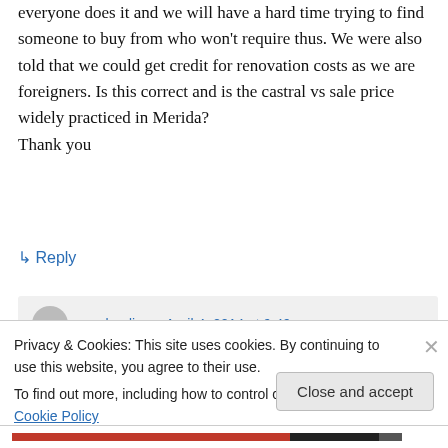everyone does it and we will have a hard time trying to find someone to buy from who won't require thus. We were also told that we could get credit for renovation costs as we are foreigners. Is this correct and is the castral vs sale price widely practiced in Merida?
Thank you
↳ Reply
yucalandia on April 4, 2014 at 9:49 am
Privacy & Cookies: This site uses cookies. By continuing to use this website, you agree to their use.
To find out more, including how to control cookies, see here: Cookie Policy
Close and accept